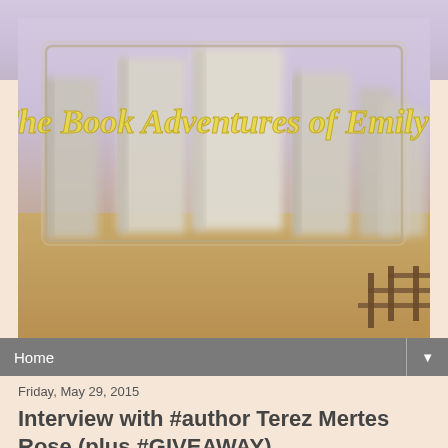[Figure (screenshot): Blog header banner for 'The Book Adventures of Emily' showing blurred books on a sandy beach background with a wooden fence, yellow cursive title text on a framed overlay]
Home
Friday, May 29, 2015
Interview with #author Terez Mertes Rose (plus #GIVEAWAY)